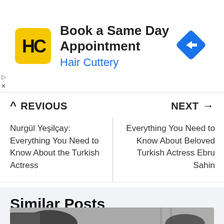[Figure (illustration): Hair Cuttery advertisement banner. Yellow square logo with 'HC' letters, text 'Book a Same Day Appointment' in bold and 'Hair Cuttery' in blue, with a blue diamond navigation arrow icon on the right.]
^ PREVIOUS
NEXT →
Nurgül Yeşilçay: Everything You Need to Know About the Turkish Actress
Everything You Need to Know About Beloved Turkish Actress Ebru Sahin
Similar Posts
[Figure (photo): Black and white photo showing people, partially visible at bottom of page.]